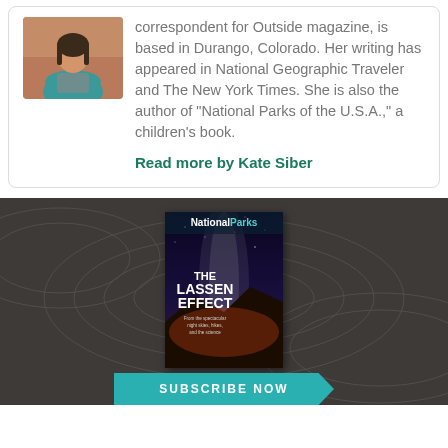[Figure (photo): Author photo of Kate Siber, a woman with arms crossed wearing a teal top]
correspondent for Outside magazine, is based in Durango, Colorado. Her writing has appeared in National Geographic Traveler and The New York Times. She is also the author of "National Parks of the U.S.A.," a children's book.
Read more by Kate Siber
[Figure (photo): National Parks magazine cover featuring 'THE LASSEN EFFECT' with a night sky and Milky Way over a mountain landscape]
SUBSCRIBE NOW